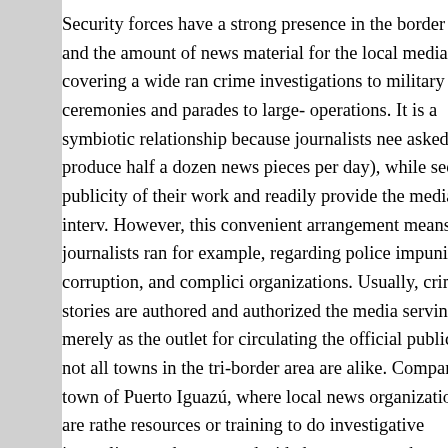Security forces have a strong presence in the border area and the amount of news material for the local media, covering a wide range from crime investigations to military ceremonies and parades to large-scale operations. It is a symbiotic relationship because journalists need (asked to produce half a dozen news pieces per day), while security forces want publicity of their work and readily provide the media with interviews. However, this convenient arrangement means that journalists rarely report, for example, regarding police impunity, corruption, and complicity with criminal organizations. Usually, crime stories are authored and authorized by the police, with the media serving merely as the outlet for circulating the official version to the public. But not all towns in the tri-border area are alike. Compared to the small town of Puerto Iguazú, where local news organizations are rather weak, lacking resources or training to do investigative journalism, and cannot protect those who decided to pursue such stories, some media companies in Ciudad del Este, on the Paraguayan side of the border, have done important investigative work. Nevertheless, due to corruption that entangles politicians, business interests, and even the media, critical crime reporting remains severely limited.